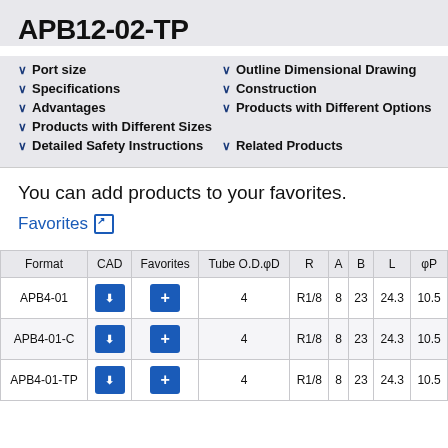APB12-02-TP
Port size
Outline Dimensional Drawing
Specifications
Construction
Advantages
Products with Different Options
Products with Different Sizes
Detailed Safety Instructions
Related Products
You can add products to your favorites.
Favorites
| Format | CAD | Favorites | Tube O.D.φD | R | A | B | L | φP |
| --- | --- | --- | --- | --- | --- | --- | --- | --- |
| APB4-01 | ↓ | + | 4 | R1/8 | 8 | 23 | 24.3 | 10.5 |
| APB4-01-C | ↓ | + | 4 | R1/8 | 8 | 23 | 24.3 | 10.5 |
| APB4-01-TP | ↓ | + | 4 | R1/8 | 8 | 23 | 24.3 | 10.5 |